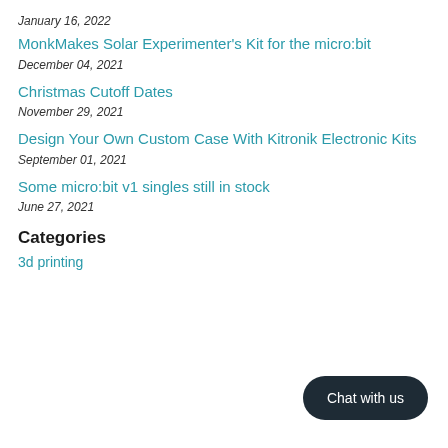January 16, 2022
MonkMakes Solar Experimenter's Kit for the micro:bit
December 04, 2021
Christmas Cutoff Dates
November 29, 2021
Design Your Own Custom Case With Kitronik Electronic Kits
September 01, 2021
Some micro:bit v1 singles still in stock
June 27, 2021
Categories
3d printing
Chat with us